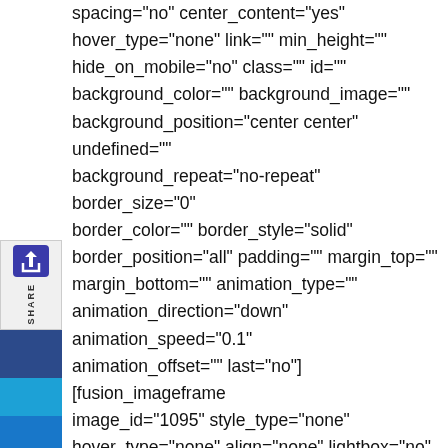spacing="no" center_content="yes" hover_type="none" link="" min_height="" hide_on_mobile="no" class="" id="" background_color="" background_image="" background_position="center center" undefined="" background_repeat="no-repeat" border_size="0" border_color="" border_style="solid" border_position="all" padding="" margin_top="" margin_bottom="" animation_type="" animation_direction="down" animation_speed="0.1" animation_offset="" last="no"][fusion_imageframe image_id="1095" style_type="none" hover_type="none" align="none" lightbox="no" linktarget="_self" hide_on_mobile="small-visibility,medium-visibility,large-visibility" animation_direction="left" animation_speed="0.3"]https://atlasintgroup.com/wp-